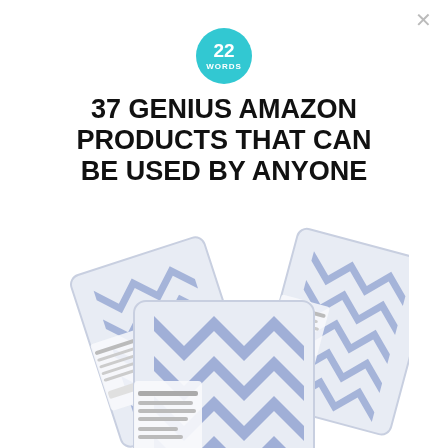[Figure (logo): 22 Words teal circular logo with '22 WORDS' text]
37 GENIUS AMAZON PRODUCTS THAT CAN BE USED BY ANYONE
[Figure (photo): Multiple packets of makeup remover cleansing towelettes with blue geometric pattern packaging]
[Figure (screenshot): Social sharing toolbar with Pinterest, Facebook, helpful and non helpful buttons, followed by a 'Where Words' article image showing a guitar neck]
helpful
non helpful